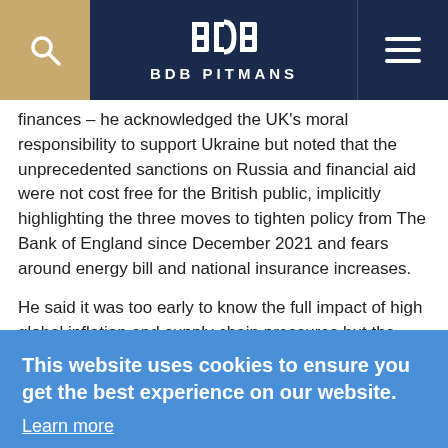BDB PITMANS
finances – he acknowledged the UK's moral responsibility to support Ukraine but noted that the unprecedented sanctions on Russia and financial aid were not cost free for the British public, implicitly highlighting the three moves to tighten policy from The Bank of England since December 2021 and fears around energy bill and national insurance increases.
He said it was too early to know the full impact of high global inflation and supply chain pressures but the Government intended to support people. Off the back of this, he announced several key measures:
fuel duty cut by 5p from 6pm on 23 March 2022;
This website uses cookies to ensure you get the best experience on our website.
Learn more
Accept